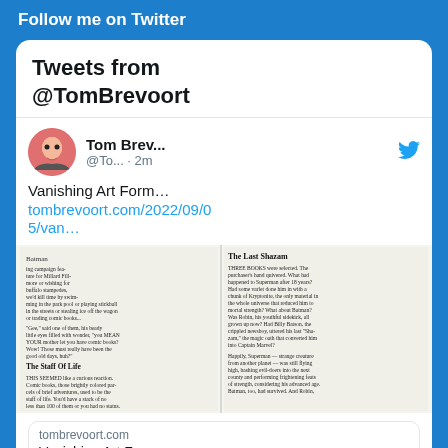Follow me on Twitter
Tweets from @TomBrevoort
Tom Brev... @To... · 2m
Vanishing Art Form…
tombrevoort.com/2022/09/05/van…
[Figure (screenshot): Black and white newspaper/comic article excerpt showing sections titled 'The Last Shazam' and 'The Staff Of Life' with text about Superman, Batman, Captain Marvel and comic books]
tombrevoort.com
Vanishing Art Form…